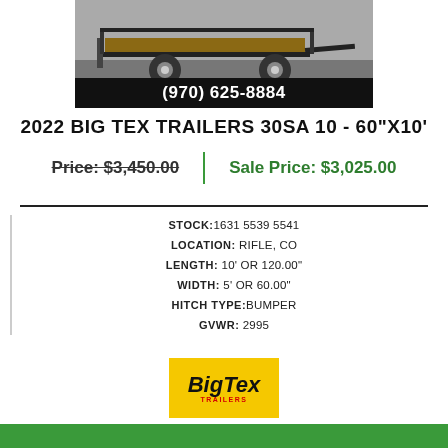[Figure (photo): Photo of a Big Tex utility trailer with black frame and wooden deck]
(970) 625-8884
2022 BIG TEX TRAILERS 30SA 10 - 60"X10'
Price: $3,450.00  |  Sale Price: $3,025.00
STOCK: 1631 5539 5541
LOCATION: RIFLE, CO
LENGTH: 10' OR 120.00"
WIDTH: 5' OR 60.00"
HITCH TYPE: BUMPER
GVWR: 2995
[Figure (logo): Big Tex Trailers logo on yellow background]